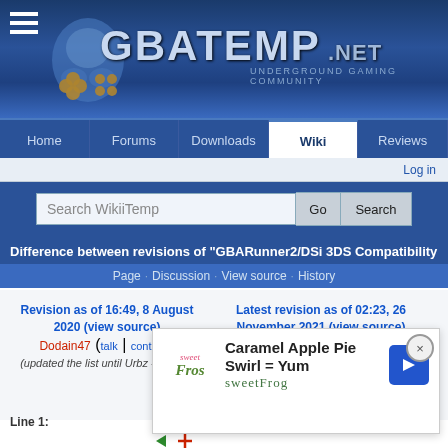GBATemp.net — Underground Gaming Community
Home · Forums · Downloads · Wiki · Reviews
Log in
Search WikiiTemp
Difference between revisions of "GBARunner2/DSi 3DS Compatibility List"
Page · Discussion · View source · History
Revision as of 16:49, 8 August 2020 (view source)
Dodain47 (talk | contribs)
(updated the list until Urbz - Sims in
Latest revision as of 02:23, 26 November 2021 (view source)
Zense (talk | contribs)
(→The Various Builds and Branches
Line 1:
[Figure (screenshot): Advertisement for sweetFrog: Caramel Apple Pie Swirl = Yum, sweetFrog branding with navigation arrow icon]